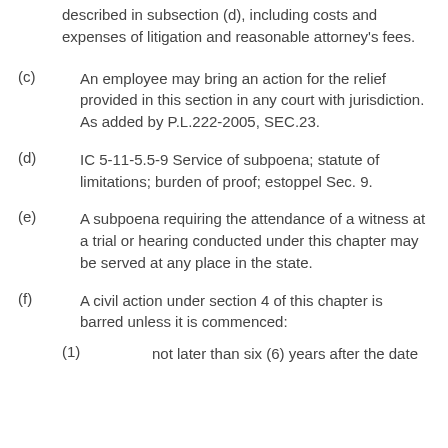described in subsection (d), including costs and expenses of litigation and reasonable attorney's fees.
(c) An employee may bring an action for the relief provided in this section in any court with jurisdiction. As added by P.L.222-2005, SEC.23.
(d) IC 5-11-5.5-9 Service of subpoena; statute of limitations; burden of proof; estoppel Sec. 9.
(e) A subpoena requiring the attendance of a witness at a trial or hearing conducted under this chapter may be served at any place in the state.
(f) A civil action under section 4 of this chapter is barred unless it is commenced:
(1) not later than six (6) years after the date